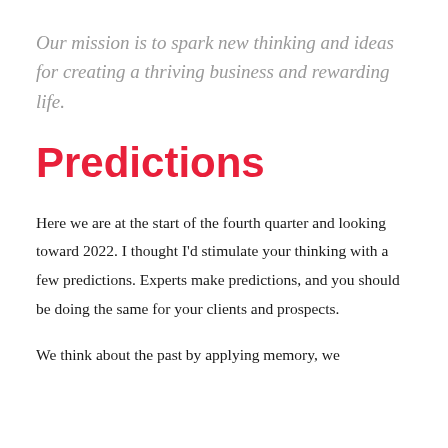Our mission is to spark new thinking and ideas for creating a thriving business and rewarding life.
Predictions
Here we are at the start of the fourth quarter and looking toward 2022. I thought I'd stimulate your thinking with a few predictions. Experts make predictions, and you should be doing the same for your clients and prospects.
We think about the past by applying memory, we